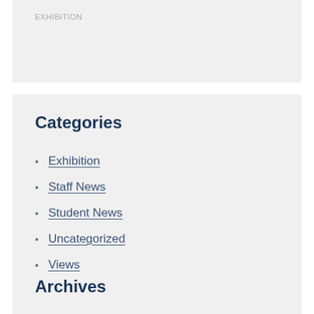EXHIBITION
Categories
Exhibition
Staff News
Student News
Uncategorized
Views
Archives